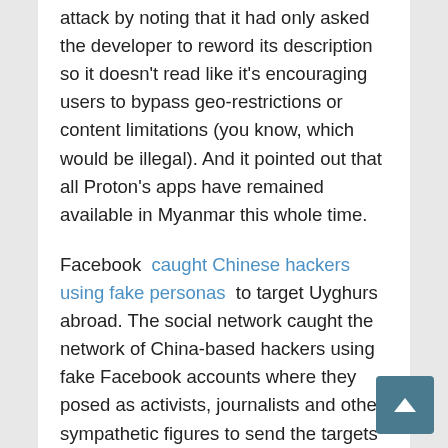attack by noting that it had only asked the developer to reword its description so it doesn't read like it's encouraging users to bypass geo-restrictions or content limitations (you know, which would be illegal). And it pointed out that all Proton's apps have remained available in Myanmar this whole time.
Facebook caught Chinese hackers using fake personas to target Uyghurs abroad. The social network caught the network of China-based hackers using fake Facebook accounts where they posed as activists, journalists and other sympathetic figures to send the targets to compromised websites. The hacking groups are aiming to gain access to the targets' devices by getting them to install malicious